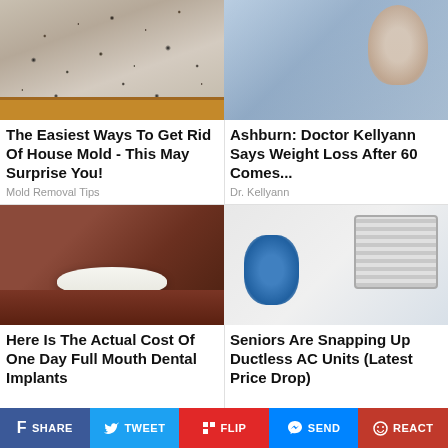[Figure (photo): Mold growing on a wall corner with wooden baseboard]
The Easiest Ways To Get Rid Of House Mold - This May Surprise You!
Mold Removal Tips
[Figure (photo): Woman sitting on couch thinking, hand on chin]
Ashburn: Doctor Kellyann Says Weight Loss After 60 Comes...
Dr. Kellyann
[Figure (photo): Close-up of a man's smile showing dental implants]
Here Is The Actual Cost Of One Day Full Mouth Dental Implants
[Figure (photo): HVAC technician servicing a ductless AC unit]
Seniors Are Snapping Up Ductless AC Units (Latest Price Drop)
SHARE  TWEET  FLIP  SEND  REACT